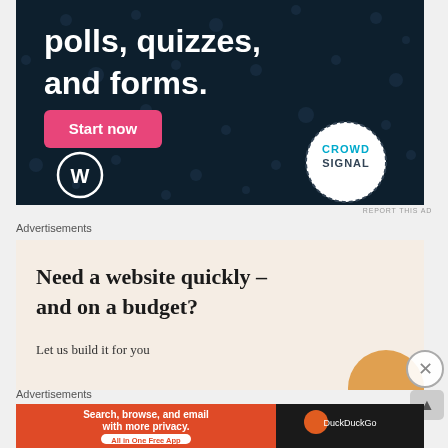[Figure (illustration): Dark navy advertisement banner for Crowdsignal/WordPress showing text 'polls, quizzes, and forms.' with a pink 'Start now' button, WordPress logo bottom-left, and Crowdsignal circular badge bottom-right with dot pattern background.]
REPORT THIS AD
Advertisements
[Figure (illustration): Light beige/cream advertisement banner reading 'Need a website quickly – and on a budget?' with subtitle 'Let us build it for you' and a partial circular golden/orange logo at bottom right.]
Advertisements
[Figure (illustration): DuckDuckGo advertisement banner with orange left section reading 'Search, browse, and email with more privacy. All in One Free App' and dark right section with DuckDuckGo duck logo and 'DuckDuckGo' text.]